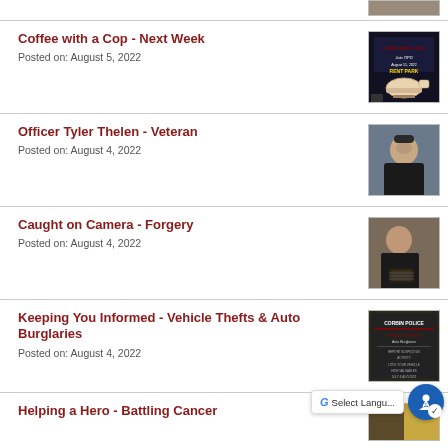[Figure (photo): Partial thumbnail image at top of page]
Coffee with a Cop - Next Week
Posted on: August 5, 2022
[Figure (photo): Coffee with a Cop event flyer thumbnail]
Officer Tyler Thelen - Veteran
Posted on: August 4, 2022
[Figure (photo): Officer Tyler Thelen portrait photo thumbnail]
Caught on Camera - Forgery
Posted on: August 4, 2022
[Figure (photo): Forgery suspect caught on camera thumbnail]
Keeping You Informed - Vehicle Thefts & Auto Burglaries
Posted on: August 4, 2022
[Figure (photo): Vehicle thefts informational flyer thumbnail]
Helping a Hero - Battling Cancer